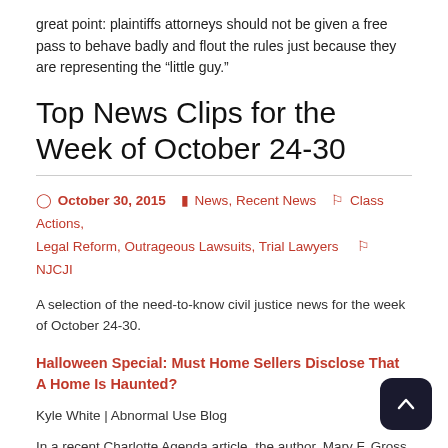great point: plaintiffs attorneys should not be given a free pass to behave badly and flout the rules just because they are representing the “little guy.”
Top News Clips for the Week of October 24-30
October 30, 2015   News, Recent News   Class Actions, Legal Reform, Outrageous Lawsuits, Trial Lawyers   NJCJI
A selection of the need-to-know civil justice news for the week of October 24-30.
Halloween Special: Must Home Sellers Disclose That A Home Is Haunted?
Kyle White | Abnormal Use Blog
In a recent Charlotte Agenda article, the author, Mary F. Gross, reports on a home that her friend recently purchased – a 1920’s “boot house” which came with historical character, secret compartm stashing booze, and . . . a ghost? The buyers were apparently notified for the first time at the closing that the home also came with